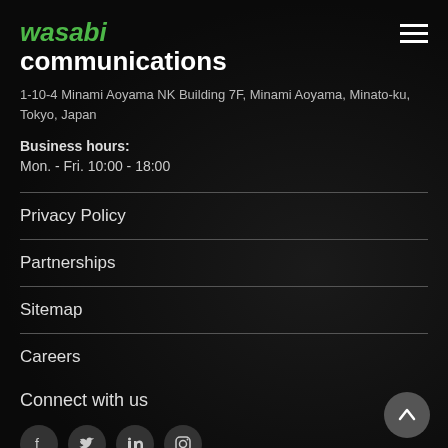wasabi communications
1-10-4 Minami Aoyama NK Building 7F, Minami Aoyama, Minato-ku, Tokyo, Japan
Business hours:
Mon. - Fri. 10:00 - 18:00
Privacy Policy
Partnerships
Sitemap
Careers
Connect with us
[Figure (illustration): Social media icons: Facebook, Twitter, LinkedIn, Instagram (circular dark buttons)]